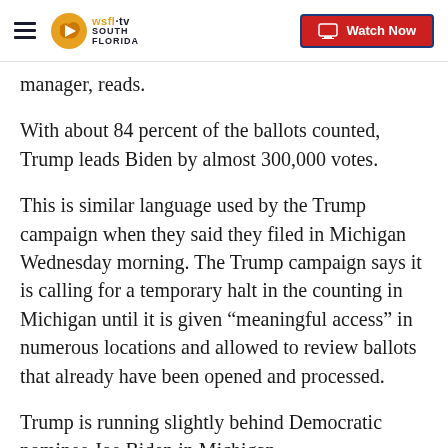WSFL-TV SOUTH FLORIDA | Watch Now
manager, reads.
With about 84 percent of the ballots counted, Trump leads Biden by almost 300,000 votes.
This is similar language used by the Trump campaign when they said they filed in Michigan Wednesday morning. The Trump campaign says it is calling for a temporary halt in the counting in Michigan until it is given “meaningful access” in numerous locations and allowed to review ballots that already have been opened and processed.
Trump is running slightly behind Democratic nominee Joe Biden in Michigan.